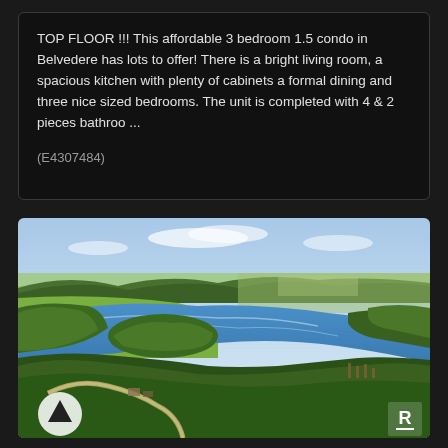TOP FLOOR !!! This affordable 3 bedroom 1.5 condo in Belvedere has lots to offer! There is a bright living room, a spacious kitchen with plenty of cabinets a formal dining and three nice sized bedrooms. The unit is completed with 4 & 2 pieces bathroo ...
(E4307484)
[Figure (photo): Aerial photograph of a river winding through green forested landscape with fields and small community visible. Clear blue sky with light clouds in the background.]